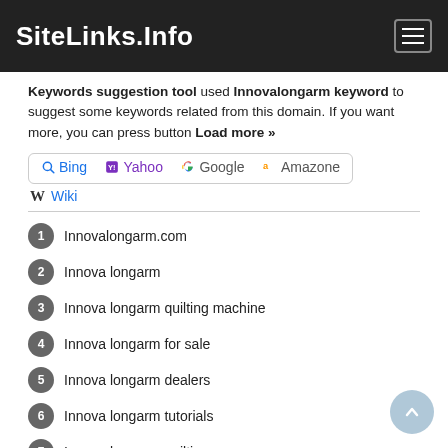SiteLinks.Info
Keywords suggestion tool used Innovalongarm keyword to suggest some keywords related from this domain. If you want more, you can press button Load more »
Bing  Yahoo  Google  Amazone  Wiki
1 Innovalongarm.com
2 Innova longarm
3 Innova longarm quilting machine
4 Innova longarm for sale
5 Innova longarm dealers
6 Innova longarm tutorials
7 Innova longarm quilting
8 Innova longarm parts